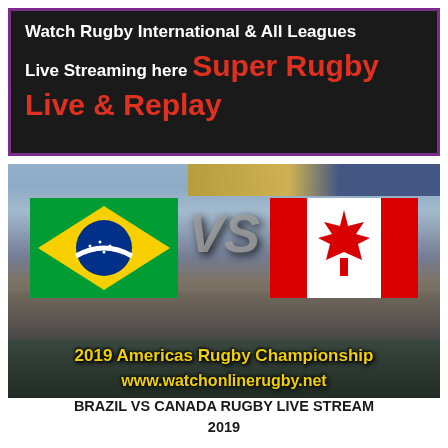[Figure (infographic): Dark banner with purple border containing text: 'Watch Rugby International & All Leagues Live Streaming here Super Rugby Live & Replay'. 'Super Rugby' and 'Live & Replay' are in red, rest is white bold text.]
[Figure (photo): Stadium photo showing Brazil flag vs Canada flag with 'VS' text in center. Bottom overlay text: '2019 Americas Rugby Championship' and 'www.watchonlinerugby.net' in yellow bold text.]
BRAZIL VS CANADA RUGBY LIVE STREAM 2019